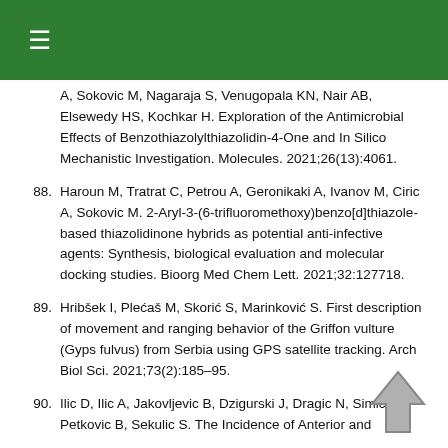≡
A, Sokovic M, Nagaraja S, Venugopala KN, Nair AB, Elsewedy HS, Kochkar H. Exploration of the Antimicrobial Effects of Benzothiazolylthiazolidin-4-One and In Silico Mechanistic Investigation. Molecules. 2021;26(13):4061.
88. Haroun M, Tratrat C, Petrou A, Geronikaki A, Ivanov M, Ciric A, Sokovic M. 2-Aryl-3-(6-trifluoromethoxy)benzo[d]thiazole-based thiazolidinone hybrids as potential anti-infective agents: Synthesis, biological evaluation and molecular docking studies. Bioorg Med Chem Lett. 2021;32:127718.
89. Hribšek I, Plećaš M, Skorić S, Marinković S. First description of movement and ranging behavior of the Griffon vulture (Gyps fulvus) from Serbia using GPS satellite tracking. Arch Biol Sci. 2021;73(2):185–95.
90. Ilic D, Ilic A, Jakovljevic B, Dzigurski J, Dragic N, Simic S, Petkovic B, Sekulic S. The Incidence of Anterior and